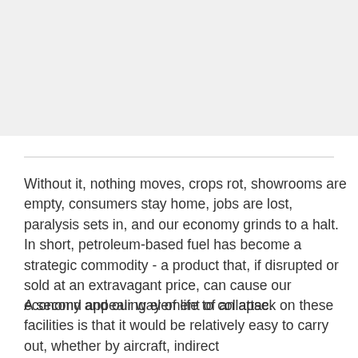[Figure (other): Gray image or figure area at top of page]
Without it, nothing moves, crops rot, showrooms are empty, consumers stay home, jobs are lost, paralysis sets in, and our economy grinds to a halt. In short, petroleum-based fuel has become a strategic commodity - a product that, if disrupted or sold at an extravagant price, can cause our economy and our way of life to collapse.
A second appealing element of an attack on these facilities is that it would be relatively easy to carry out, whether by aircraft, indirect